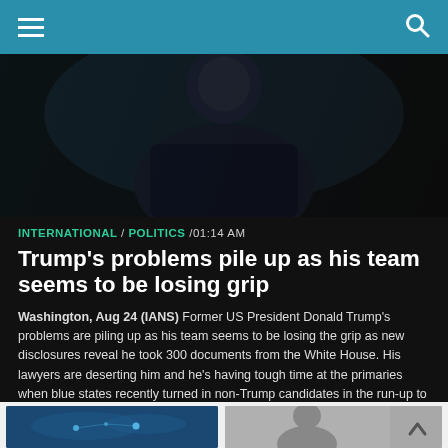Navigation bar with menu and search icons
[Figure (photo): Dark moody photo of a man (Trump silhouette) against a nearly black background]
INTERNATIONAL / POLITICS /01:14 AM
Trump's problems pile up as his team seems to be losing grip
Washington, Aug 24 (IANS) Former US President Donald Trump's problems are piling up as his team seems to be losing the grip as new disclosures reveal he took 300 documents from the White House. His lawyers are deserting him and he's having tough time at the primaries when blue states recently turned in non-Trump candidates in the run-up to the midterms.
[Figure (photo): World map graphic with blue glowing nodes on dark blue background]
[Figure (photo): Photo of a man at a podium or press conference]